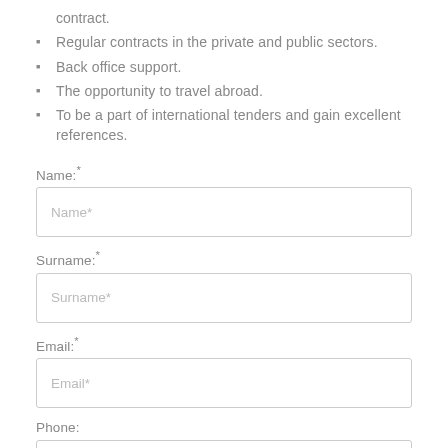contract.
Regular contracts in the private and public sectors.
Back office support.
The opportunity to travel abroad.
To be a part of international tenders and gain excellent references.
Name:*
Name*
Surname:*
Surname*
Email:*
Email*
Phone:
Phone